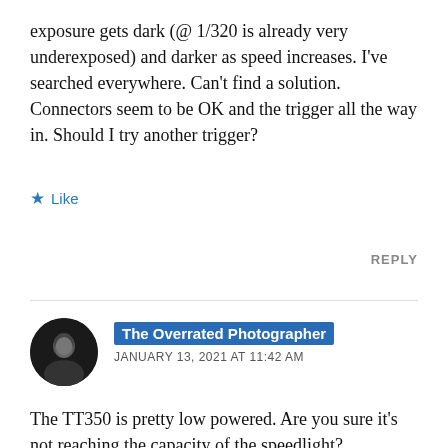exposure gets dark (@ 1/320 is already very underexposed) and darker as speed increases. I've searched everywhere. Can't find a solution. Connectors seem to be OK and the trigger all the way in. Should I try another trigger?
Like
REPLY
The Overrated Photographer
JANUARY 13, 2021 AT 11:42 AM
The TT350 is pretty low powered. Are you sure it's not reaching the capacity of the speedlight?